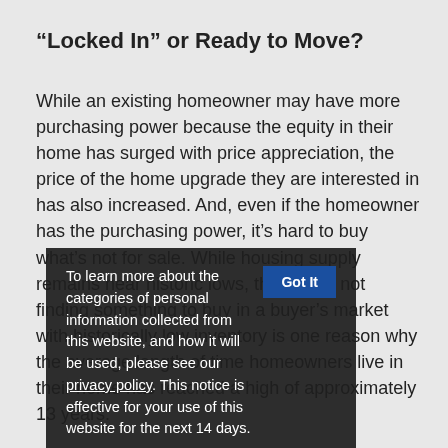“Locked In” or Ready to Move?
While an existing homeowner may have more purchasing power because the equity in their home has surged with price appreciation, the price of the home upgrade they are interested in has also increased. And, even if the homeowner has the purchasing power, it’s hard to buy what’s not for sale. While housing supply remains near historic lows, the fear of not finding something to buy in a buyer’s market with historically low inventory is one reason why the average length of time homeowners live in their home has reached a high of approximately 13 years.
To learn more about the categories of personal information collected from this website, and how it will be used, please see our privacy policy. This notice is effective for your use of this website for the next 14 days.